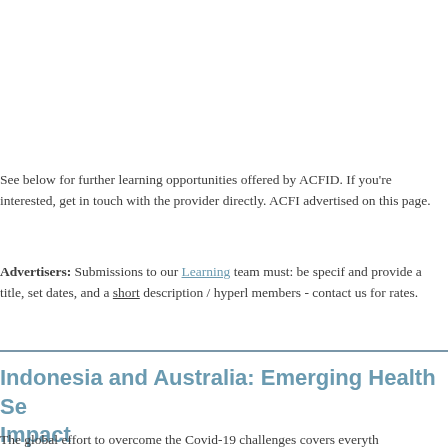See below for further learning opportunities offered by ACFID. If you're interested, get in touch with the provider directly. ACFID advertised on this page.
Advertisers: Submissions to our Learning team must: be specific and provide a title, set dates, and a short description / hyperlink members - contact us for rates.
Indonesia and Australia: Emerging Health Se... Impact
The global effort to overcome the Covid-19 challenges covers everyth...